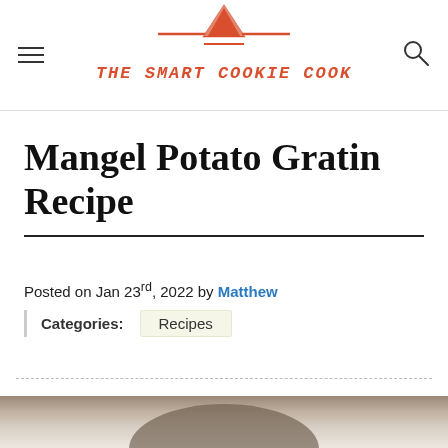THE SMART COOKIE COOK
Mangel Potato Gratin Recipe
Posted on Jan 23rd, 2022 by Matthew
Categories: Recipes
[Figure (photo): Partial photo of a dish, bottom of page]